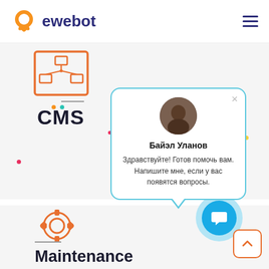[Figure (logo): ewebot logo with orange chat bubble icon and dark blue text]
[Figure (illustration): Network/sitemap icon in orange outline style]
CMS
[Figure (screenshot): Chat popup with avatar photo of Байэл Уланов, name in bold, and Russian greeting message. Close X button top right.]
Байэл Уланов
Здравствуйте! Готов помочь вам. Напишите мне, если у вас появятся вопросы.
[Figure (illustration): Orange gear/settings icon]
Maintenance
[Figure (illustration): Blue chat bubble button with speech icon]
[Figure (illustration): Scroll to top button with orange border and upward chevron]